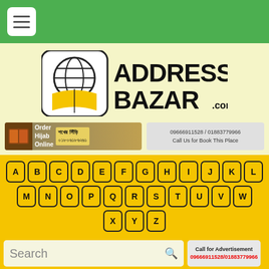Navigation header with hamburger menu icon
[Figure (logo): AddressBazar.com logo with globe and book icon on yellow background]
[Figure (infographic): Banner ad for hijab order online with phone number; right side call-us banner with numbers 09666911528 / 01883779966 and text 'Call Us for Book This Place']
[Figure (other): Alphabet keyboard navigation: A B C D E F G H I J K L / M N O P Q R S T U V W / X Y Z buttons on yellow background]
Search
Call for Advertisement 09666911528/01883779966
Home / Furniture & Decoration / Door Window Aluminium